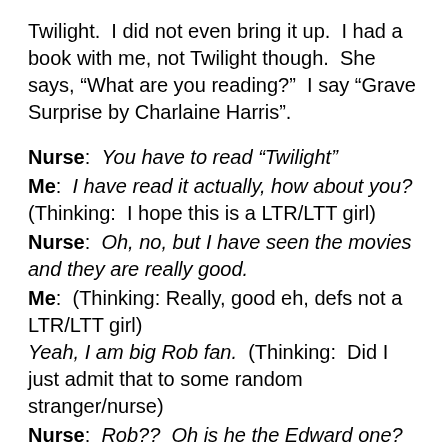Twilight.  I did not even bring it up.  I had a book with me, not Twilight though.  She says, “What are you reading?”  I say “Grave Surprise by Charlaine Harris”.
Nurse:  You have to read “Twilight”
Me:  I have read it actually, how about you?  (Thinking:  I hope this is a LTR/LTT girl)
Nurse:  Oh, no, but I have seen the movies and they are really good.
Me:  (Thinking: Really, good eh, defs not a LTR/LTT girl)  Yeah, I am big Rob fan.  (Thinking:  Did I just admit that to some random stranger/nurse)
Nurse:  Rob??  Oh is he the Edward one?
Me:  Yes, Robert Pattinson, he plays Edward.
Nurse:  Ok, all done here, we will let you know when the doctor is ready for you.
Me:  (Thinking:  That was weird)  Thanks.